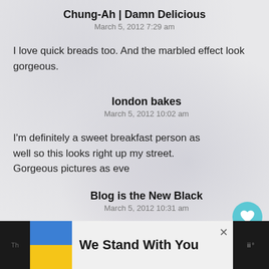Chung-Ah | Damn Delicious
March 5, 2012 7:29 am
I love quick breads too. And the marbled effect look gorgeous.
london bakes
March 5, 2012 10:02 am
I'm definitely a sweet breakfast person as well so this looks right up my street. Gorgeous pictures as eve
Blog is the New Black
March 5, 2012 10:31 am
We Stand With You